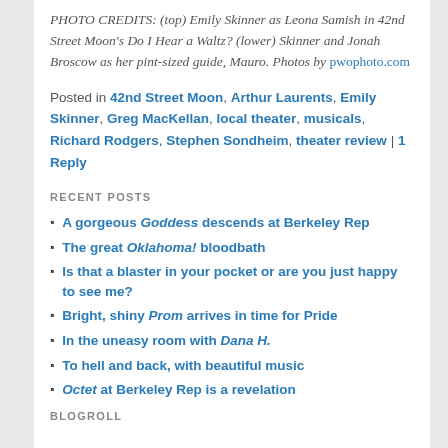PHOTO CREDITS: (top) Emily Skinner as Leona Samish in 42nd Street Moon's Do I Hear a Waltz? (lower) Skinner and Jonah Broscow as her pint-sized guide, Mauro. Photos by pwophoto.com
Posted in 42nd Street Moon, Arthur Laurents, Emily Skinner, Greg MacKellan, local theater, musicals, Richard Rodgers, Stephen Sondheim, theater review | 1 Reply
RECENT POSTS
A gorgeous Goddess descends at Berkeley Rep
The great Oklahoma! bloodbath
Is that a blaster in your pocket or are you just happy to see me?
Bright, shiny Prom arrives in time for Pride
In the uneasy room with Dana H.
To hell and back, with beautiful music
Octet at Berkeley Rep is a revelation
BLOGROLL